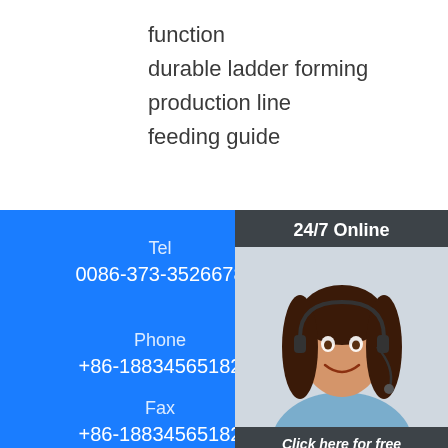function
durable ladder forming production line
feeding guide
[Figure (infographic): 24/7 Online chat support widget with a photo of a smiling woman wearing a headset, a 'Click here for free chat!' call to action, and an orange QUOTATION button]
Tel
0086-373-3526678
Phone
+86-18834565182
Fax
+86-18834565182
[Figure (logo): TOP logo with orange dots arranged in a triangle above the letters TOP in orange]